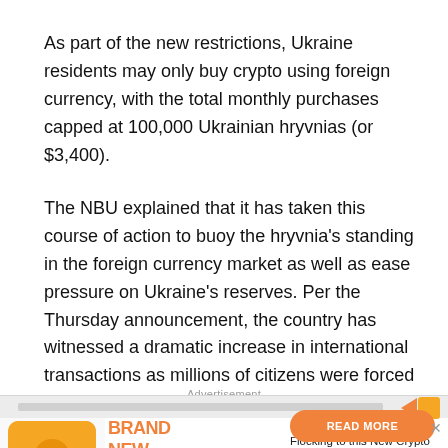As part of the new restrictions, Ukraine residents may only buy crypto using foreign currency, with the total monthly purchases capped at 100,000 Ukrainian hryvnias (or $3,400).
The NBU explained that it has taken this course of action to buoy the hryvnia's standing in the foreign currency market as well as ease pressure on Ukraine's reserves. Per the Thursday announcement, the country has witnessed a dramatic increase in international transactions as millions of citizens were forced to flee due to the military invasion by Russia.
Advertisement
[Figure (infographic): Advertisement banner for a new crypto currency product. Features an orange crypto logo with a dog icon and chart, orange brand text reading BRAND NEW CRYPTO, descriptive text Discover Why Investors are Flocking to this New Crypto, and an orange READ MORE button.]